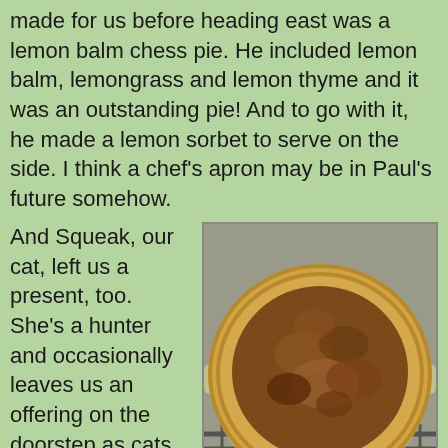made for us before heading east was a lemon balm chess pie. He included lemon balm, lemongrass and lemon thyme and it was an outstanding pie! And to go with it, he made a lemon sorbet to serve on the side. I think a chef's apron may be in Paul's future somehow.
And Squeak, our cat, left us a present, too. She's a hunter and occasionally leaves us an offering on the doorstep as cats often do - to pay their rent some say. Squeak left us a packrat, splayed out on the welcome mat.
[Figure (photo): A baked pie in a glass pie dish resting on a wire cooling rack. The pie has a golden-brown crust and a darker caramelized filling on top.]
I'm sure she believes she has provided well for us. I turned around to thank her where she was laying on the porch loveseat (peeking through barely open eyelids, to see if I approved). When I turned back to the "present" it was gone and our Jack Russell was carrying it around as if she had